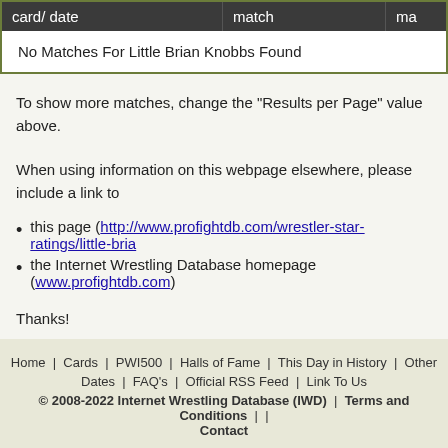| card/ date | match | ma |
| --- | --- | --- |
| No Matches For Little Brian Knobbs Found |  |  |
To show more matches, change the "Results per Page" value above.
When using information on this webpage elsewhere, please include a link to
this page (http://www.profightdb.com/wrestler-star-ratings/little-bria...)
the Internet Wrestling Database homepage (www.profightdb.com)
Thanks!
Home | Cards | PWI500 | Halls of Fame | This Day in History | Other
Dates | FAQ's | Official RSS Feed | Link To Us
© 2008-2022 Internet Wrestling Database (IWD) | Terms and Conditions | | Contact